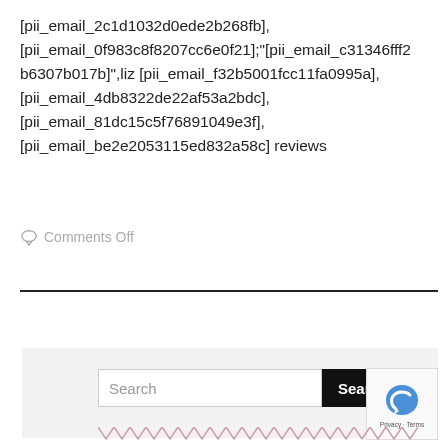[pii_email_2c1d1032d0ede2b268fb], [pii_email_0f983c8f8207cc6e0f21];"[pii_email_c31346fff2b6307b017b]",liz [pii_email_f32b5001fcc11fa0995a], [pii_email_4db8322de22af53a2bdc], [pii_email_81dc15c5f76891049e3f], [pii_email_be2e2053115ed832a58c] reviews
Comments Off